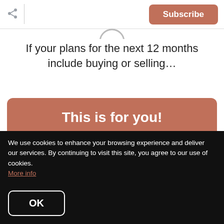Subscribe
If your plans for the next 12 months include buying or selling…
This is for you!
your local real estate experts.
Ready to talk about the value of
We use cookies to enhance your browsing experience and deliver our services. By continuing to visit this site, you agree to our use of cookies. More info
OK